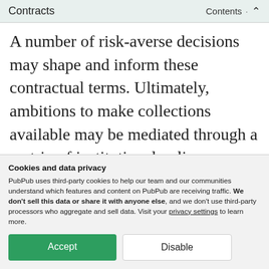Contracts · Contents ↑
A number of risk-averse decisions may shape and inform these contractual terms. Ultimately, ambitions to make collections available may be mediated through a matrix of institutional policy statements that account for various prevailing legal frameworks in addition to public missions.
Cookies and data privacy
PubPub uses third-party cookies to help our team and our communities understand which features and content on PubPub are receiving traffic. We don't sell this data or share it with anyone else, and we don't use third-party processors who aggregate and sell data. Visit your privacy settings to learn more.